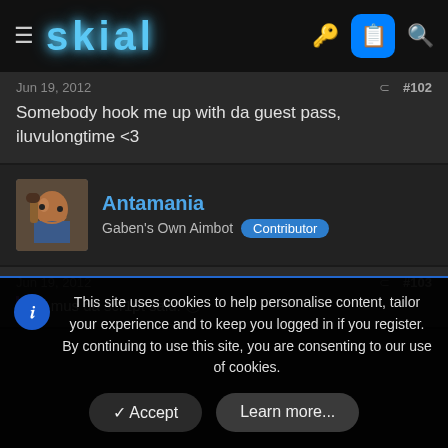skial
Jun 19, 2012    #102
Somebody hook me up with da guest pass, iluvulongtime <3
Antamania
Gaben's Own Aimbot  Contributor
Jun 19, 2012    #103
pr1mus da scr1pt said:
This site uses cookies to help personalise content, tailor your experience and to keep you logged in if you register.
By continuing to use this site, you are consenting to our use of cookies.
Accept  Learn more...